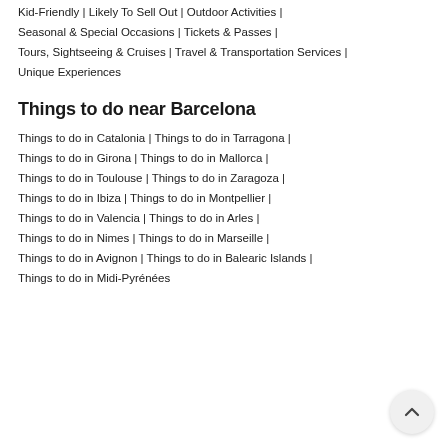Kid-Friendly | Likely To Sell Out | Outdoor Activities | Seasonal & Special Occasions | Tickets & Passes | Tours, Sightseeing & Cruises | Travel & Transportation Services | Unique Experiences
Things to do near Barcelona
Things to do in Catalonia | Things to do in Tarragona | Things to do in Girona | Things to do in Mallorca | Things to do in Toulouse | Things to do in Zaragoza | Things to do in Ibiza | Things to do in Montpellier | Things to do in Valencia | Things to do in Arles | Things to do in Nimes | Things to do in Marseille | Things to do in Avignon | Things to do in Balearic Islands | Things to do in Midi-Pyrénées